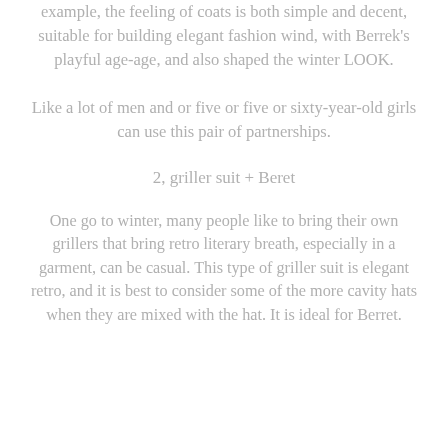example, the feeling of coats is both simple and decent, suitable for building elegant fashion wind, with Berrek's playful age-age, and also shaped the winter LOOK.
Like a lot of men and or five or five or sixty-year-old girls can use this pair of partnerships.
2, griller suit + Beret
One go to winter, many people like to bring their own grillers that bring retro literary breath, especially in a garment, can be casual. This type of griller suit is elegant retro, and it is best to consider some of the more cavity hats when they are mixed with the hat. It is ideal for Berret.